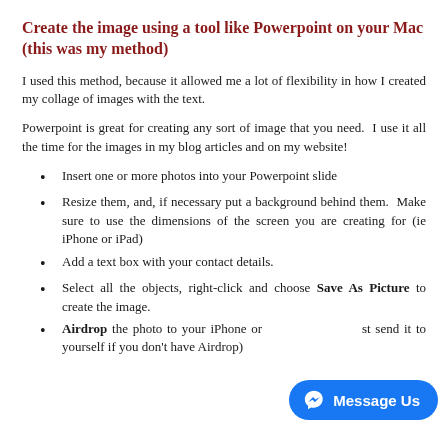Create the image using a tool like Powerpoint on your Mac (this was my method)
I used this method, because it allowed me a lot of flexibility in how I created my collage of images with the text.
Powerpoint is great for creating any sort of image that you need.  I use it all the time for the images in my blog articles and on my website!
Insert one or more photos into your Powerpoint slide
Resize them, and, if necessary put a background behind them.  Make sure to use the dimensions of the screen you are creating for (ie iPhone or iPad)
Add a text box with your contact details.
Select all the objects, right-click and choose Save As Picture to create the image.
Airdrop the photo to your iPhone or ... just send it to yourself if you don't have Airdrop)